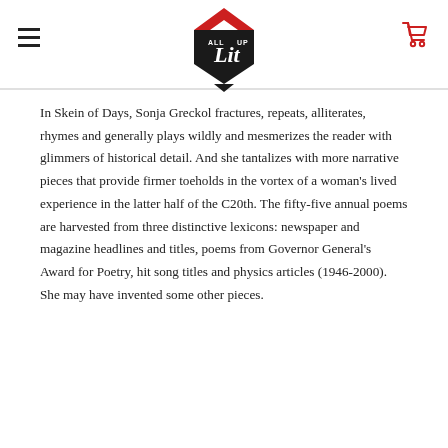All Lit Up — navigation header with logo
In Skein of Days, Sonja Greckol fractures, repeats, alliterates, rhymes and generally plays wildly and mesmerizes the reader with glimmers of historical detail. And she tantalizes with more narrative pieces that provide firmer toeholds in the vortex of a woman's lived experience in the latter half of the C20th. The fifty-five annual poems are harvested from three distinctive lexicons: newspaper and magazine headlines and titles, poems from Governor General's Award for Poetry, hit song titles and physics articles (1946-2000). She may have invented some other pieces.